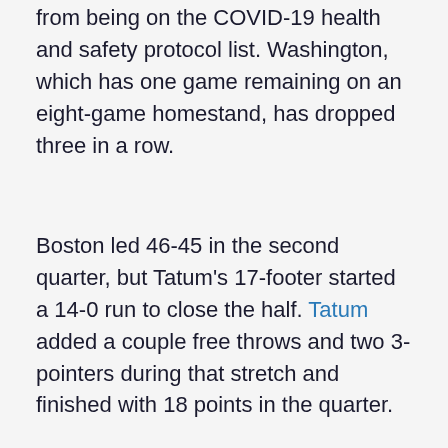from being on the COVID-19 health and safety protocol list. Washington, which has one game remaining on an eight-game homestand, has dropped three in a row.
Boston led 46-45 in the second quarter, but Tatum's 17-footer started a 14-0 run to close the half. Tatum added a couple free throws and two 3-pointers during that stretch and finished with 18 points in the quarter.
ADVERTISEMENT
[Figure (other): Advertisement placeholder box with 'Ad' button centered near bottom]